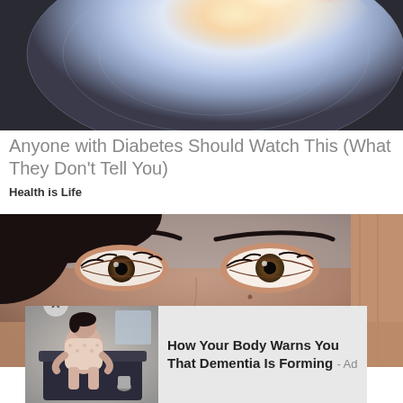[Figure (photo): Close-up photo of a cracked egg or geode with white and colorful interior, dark background]
Anyone with Diabetes Should Watch This (What They Don't Tell You)
Health is Life
[Figure (photo): Close-up photo of a woman's eyes and face against a blue-grey background]
[Figure (photo): Advertisement overlay: photo of a person sitting hunched on a bed, with text 'How Your Body Warns You That Dementia Is Forming - Ad']